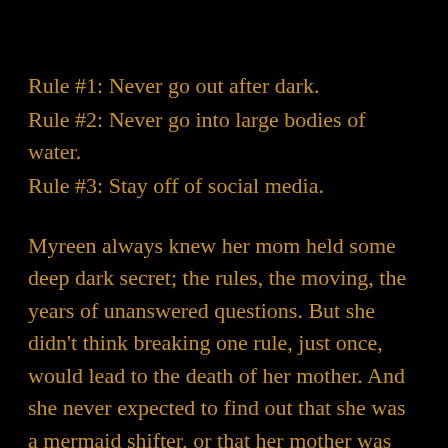Rule #1: Never go out after dark.
Rule #2: Never go into large bodies of water.
Rule #3: Stay off of social media.
Myreen always knew her mom held some deep dark secret; the rules, the moving, the years of unanswered questions. But she didn't think breaking one rule, just once, would lead to the death of her mother. And she never expected to find out that she was a mermaid shifter, or that her mother was killed by vampires.